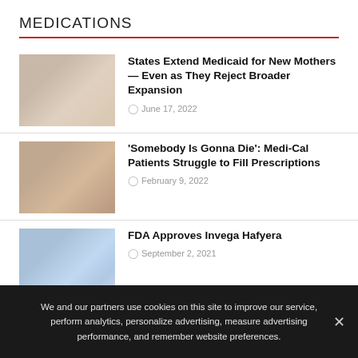MEDICATIONS
[Figure (photo): Photo of mother and newborn baby]
States Extend Medicaid for New Mothers — Even as They Reject Broader Expansion
June 17, 2022
[Figure (photo): Photo of two women facing forward, medical context]
'Somebody Is Gonna Die': Medi-Cal Patients Struggle to Fill Prescriptions
February 9, 2022
[Figure (photo): Photo of person with digital medical icons overlay]
FDA Approves Invega Hafyera
September 2, 2021
We and our partners use cookies on this site to improve our service, perform analytics, personalize advertising, measure advertising performance, and remember website preferences.